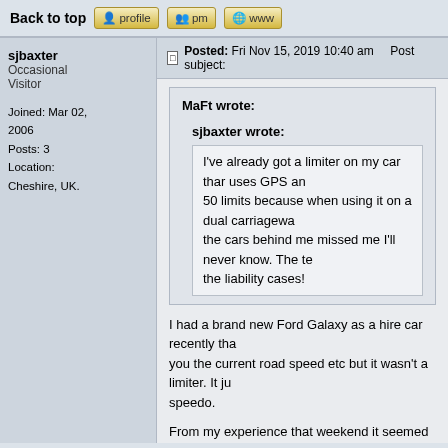Back to top  [profile]  [pm]  [www]
sjbaxter
Occasional Visitor

Joined: Mar 02, 2006
Posts: 3
Location: Cheshire, UK.
Posted: Fri Nov 15, 2019 10:40 am    Post subject:
MaFt wrote:

sjbaxter wrote:

I've already got a limiter on my car thar uses GPS an... 50 limits because when using it on a dual carriagewa... the cars behind me missed me I'll never know. The te... the liability cases!
I had a brand new Ford Galaxy as a hire car recently tha... you the current road speed etc but it wasn't a limiter. It ju... speedo.
From my experience that weekend it seemed pretty accu... speed limits from the Smart Motorway overhead gantries... GPS/Map data, but however it worked it was accurate.
I was genuinely impressed as I have seen numerous pe... time goes on, the technology improves.
Mines a 3 year old Ford Edge, so same system as the Galaxy b...